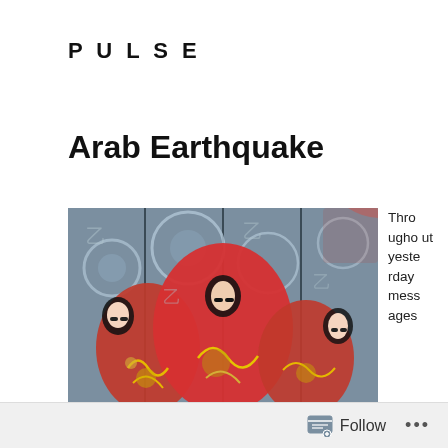PULSE
Arab Earthquake
[Figure (illustration): A colorful artwork showing figures in red garments with decorative swirling patterns on a blue/grey background, rendered in a stylized, ornate style reminiscent of Klimt or art nouveau.]
Throughout yesterday messages
Follow ...